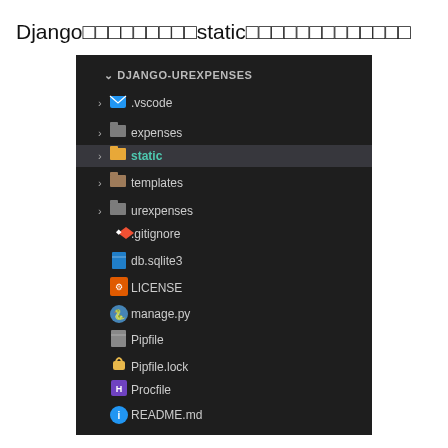Djangoのプロジェクトにstaticファイルを追加しよう
[Figure (screenshot): VS Code file explorer showing DJANGO-UREXPENSES project structure with folders: .vscode, expenses, static (highlighted), templates, urexpenses and files: .gitignore, db.sqlite3, LICENSE, manage.py, Pipfile, Pipfile.lock, Procfile, README.md]